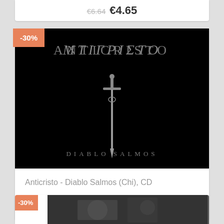€6.64 €4.65
[Figure (photo): Album cover for Anticristo - Diablo Salmos. Black background with gothic lettering 'ANTICRISTO' at top, a dagger/sword in the center, and 'DIABLO SALMOS' text at the bottom in gothic script.]
-30%
Anticristo - Diablo Salmos (Chi), CD
€6.64 €4.65